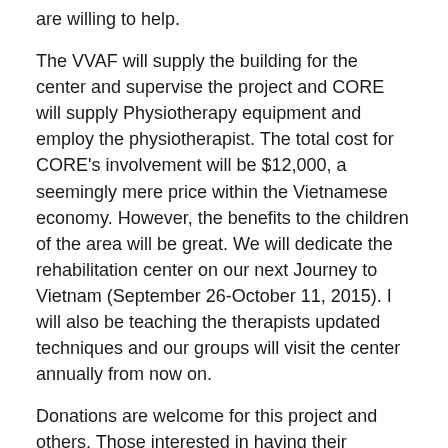are willing to help.
The VVAF will supply the building for the center and supervise the project and CORE will supply Physiotherapy equipment and employ the physiotherapist. The total cost for CORE’s involvement will be $12,000, a seemingly mere price within the Vietnamese economy. However, the benefits to the children of the area will be great. We will dedicate the rehabilitation center on our next Journey to Vietnam (September 26-October 11, 2015). I will also be teaching the therapists updated techniques and our groups will visit the center annually from now on.
Donations are welcome for this project and others. Those interested in having their contributions designated for the rehabilitation center need only designate in the memo portion of their check. Checks can be mailed to: